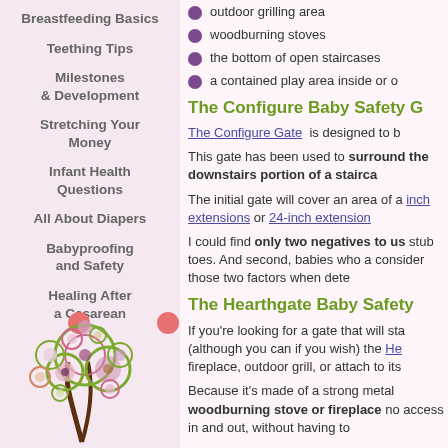Breastfeeding Basics
Teething Tips
Milestones & Development
Stretching Your Money
Infant Health Questions
All About Diapers
Babyproofing and Safety
Healing After a Cesarean
outdoor grilling area
woodburning stoves
the bottom of open staircases
a contained play area inside or o
The Configure Baby Safety G
The Configure Gate is designed to b
This gate has been used to surround the downstairs portion of a stairca
The initial gate will cover an area of a inch extensions or 24-inch extension
I could find only two negatives to us stub toes. And second, babies who a consider those two factors when dete
The Hearthgate Baby Safety
If you're looking for a gate that will sta (although you can if you wish) the He fireplace, outdoor grill, or attach to its
Because it's made of a strong metal woodburning stove or fireplace no access in and out, without having to